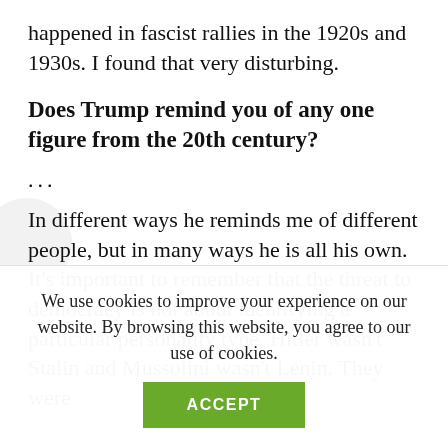happened in fascist rallies in the 1920s and 1930s. I found that very disturbing.
Does Trump remind you of any one figure from the 20th century?
… In different ways he reminds me of different people, but in many ways he is all his own. It's important to remember that the threat to democracy is not about identifying a particular personality type. Hitler wasn't Stalin and Mussolini wasn't Lenin. They were
We use cookies to improve your experience on our website. By browsing this website, you agree to our use of cookies.
ACCEPT